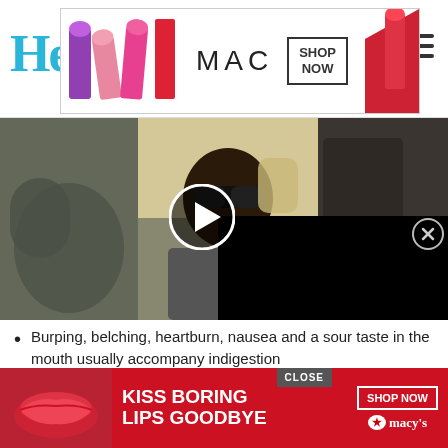He
[Figure (photo): MAC cosmetics advertisement banner with lipsticks and SHOP NOW call to action]
[Figure (screenshot): Video player showing a person sitting in a car with sunglasses, with a play button overlay and a black overlay panel]
Burping, belching, heartburn, nausea and a sour taste in the mouth usually accompany indigestion
Heart palpitations usually accompany a panic attack, sho…
[Figure (photo): Macy's advertisement: KISS BORING LIPS GOODBYE with SHOP NOW button and Macy's logo, featuring red lips image]